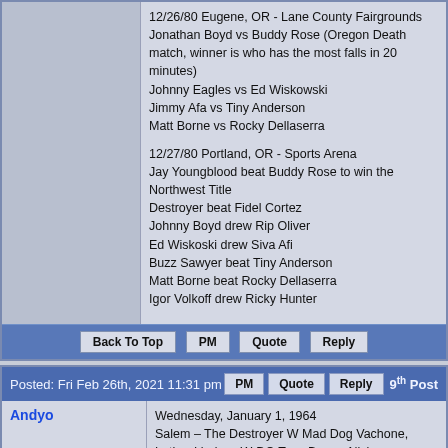12/26/80 Eugene, OR - Lane County Fairgrounds
Jonathan Boyd vs Buddy Rose (Oregon Death match, winner is who has the most falls in 20 minutes)
Johnny Eagles vs Ed Wiskowski
Jimmy Afa vs Tiny Anderson
Matt Borne vs Rocky Dellaserra

12/27/80 Portland, OR - Sports Arena
Jay Youngblood beat Buddy Rose to win the Northwest Title
Destroyer beat Fidel Cortez
Johnny Boyd drew Rip Oliver
Ed Wiskoski drew Siva Afi
Buzz Sawyer beat Tiny Anderson
Matt Borne beat Rocky Dellaserra
Igor Volkoff drew Ricky Hunter
Back To Top | PM | Quote | Reply
Posted: Fri Feb 26th, 2021 11:31 pm | PM | Quote | Reply | 9th Post
Andyo
Joined: Wed Oct 17th, 2007
Location:
Posts: 409
Status: Offline
Mana:
Wednesday, January 1, 1964
Salem – The Destroyer W Mad Dog Vachone, Luther Lindsay W-DQ Tony Borne, Nick Bockwinkel W El Mongol, Nick Kozak W-DQ Louie Tillet, Pat Barrett D Don Duffy.
Friday, January 3, 1964
Portland - The Destroyer W Mad Dog Vachone, Pat Barrett W-DQ El Mongol, Nick Bockwinkel W Don Duffy, Louie Tillet W Nick Kozak, Herb Freeman W Pedro Lopez.
Saturday, January 4, 1964
Eugene - Pedro Lopez vs. Haru Sasaki, Luther